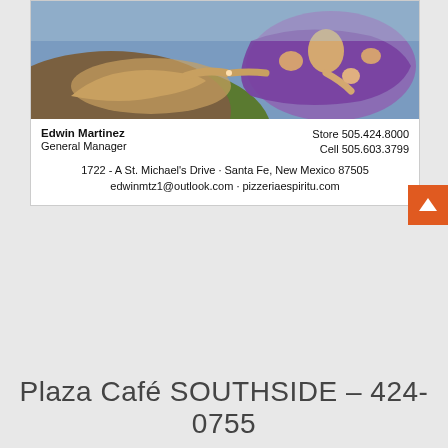[Figure (illustration): Business card featuring a reproduction of Michelangelo's Creation of Adam painting at the top, with contact information for Edwin Martinez, General Manager of Pizzeria Espiritu in Santa Fe, New Mexico.]
Edwin Martinez
General Manager
1722 - A St. Michael's Drive · Santa Fe, New Mexico 87505
edwinmtz1@outlook.com · pizzeriaespiritu.com
Store 505.424.8000
Cell 505.603.3799
Plaza Café SOUTHSIDE – 424-0755